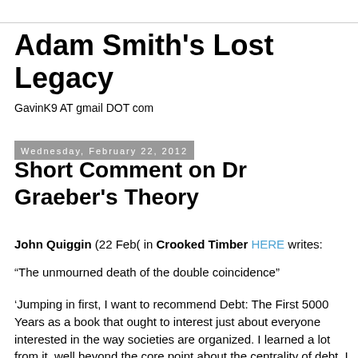Adam Smith's Lost Legacy
GavinK9 AT gmail DOT com
Wednesday, February 22, 2012
Short Comment on Dr Graeber's Theory
John Quiggin (22 Feb( in Crooked Timber HERE writes:
“The unmourned death of the double coincidence”
‘Jumping in first, I want to recommend Debt: The First 5000 Years as a book that ought to interest just about everyone interested in the way societies are organized. I learned a lot from it, well beyond the core point about the centrality of debt. I haven’t managed to collect my thoughts into a coherent response, so I’m just going to put one or two of them up for discussion, and read the other posts with interest.